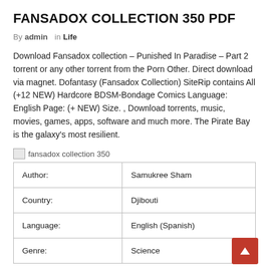FANSADOX COLLECTION 350 PDF
By admin  in  Life
Download Fansadox collection – Punished In Paradise – Part 2 torrent or any other torrent from the Porn Other. Direct download via magnet. Dofantasy (Fansadox Collection) SiteRip contains All (+12 NEW) Hardcore BDSM-Bondage Comics Language: English Page: (+ NEW) Size. , Download torrents, music, movies, games, apps, software and much more. The Pirate Bay is the galaxy's most resilient.
[Figure (other): Broken image placeholder with alt text 'fansadox collection 350']
| Author: | Samukree Sham |
| Country: | Djibouti |
| Language: | English (Spanish) |
| Genre: | Science |